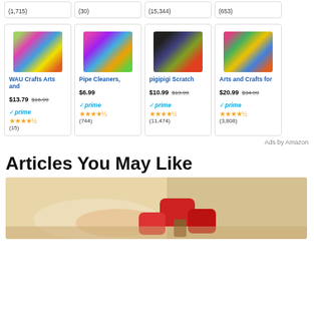(1,715)
(30)
(15,344)
(653)
[Figure (photo): WAU Crafts arts and crafts product image]
WAU Crafts Arts and
$13.79 $16.99 prime (15)
[Figure (photo): Pipe Cleaners product image - colorful pipe cleaners]
Pipe Cleaners,
$6.99 prime (744)
[Figure (photo): pigipigi Scratch product image]
pigipigi Scratch
$10.99 $19.99 prime (11,474)
[Figure (photo): Arts and Crafts for product image]
Arts and Crafts for
$20.99 $34.99 prime (3,808)
Ads by Amazon
Articles You May Like
[Figure (photo): Hand holding red plastic caps on wooden surface]